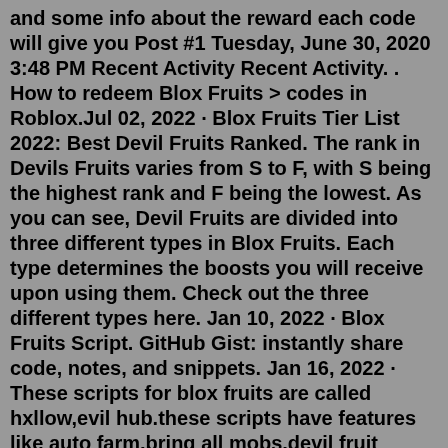and some info about the reward each code will give you Post #1 Tuesday, June 30, 2020 3:48 PM Recent Activity Recent Activity. . How to redeem Blox Fruits > codes in Roblox.Jul 02, 2022 · Blox Fruits Tier List 2022: Best Devil Fruits Ranked. The rank in Devils Fruits varies from S to F, with S being the highest rank and F being the lowest. As you can see, Devil Fruits are divided into three different types in Blox Fruits. Each type determines the boosts you will receive upon using them. Check out the three different types here. Jan 10, 2022 · Blox Fruits Script. GitHub Gist: instantly share code, notes, and snippets. Jan 16, 2022 · These scripts for blox fruits are called hxllow,evil hub.these scripts have features like auto farm,bring all mobs,devil fruit sniper,get all fruits,kill player +more!! Source: financehealthlaw.com If placeid == 6284583030 then. Jun 02, 2022 · The Blox Fruits Script is a solid Roblox exploit. This script can be downloaded for free from the official Roblox site. To run the Blox Fruits Script in the Roblox game, you will need to download a